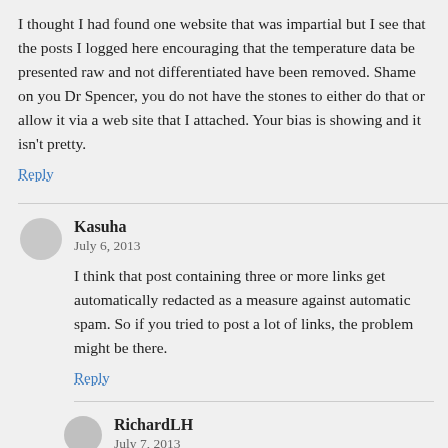I thought I had found one website that was impartial but I see that the posts I logged here encouraging that the temperature data be presented raw and not differentiated have been removed. Shame on you Dr Spencer, you do not have the stones to either do that or allow it via a web site that I attached. Your bias is showing and it isn't pretty.
Reply
Kasuha
July 6, 2013
I think that post containing three or more links get automatically redacted as a measure against automatic spam. So if you tried to post a lot of links, the problem might be there.
Reply
RichardLH
July 7, 2013